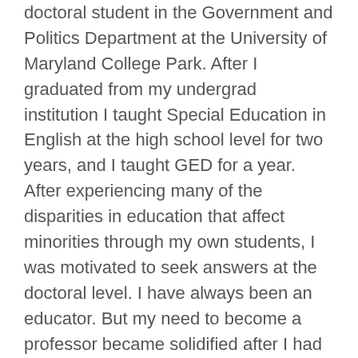Hello my name is Bria A. Brighton. I am a third-year doctoral student in the Government and Politics Department at the University of Maryland College Park. After I graduated from my undergrad institution I taught Special Education in English at the high school level for two years, and I taught GED for a year. After experiencing many of the disparities in education that affect minorities through my own students, I was motivated to seek answers at the doctoral level. I have always been an educator. But my need to become a professor became solidified after I had children. I believe that education in many ways acts as an equalizer. It is not a silver bullet but it is the best place to start. My research combines this theory with the political consequences of the achievement gap by specifically looking at education policy in order to understand why so many minority students get left behind at the primary and secondary level. In turn, this lack of education achievement affects...